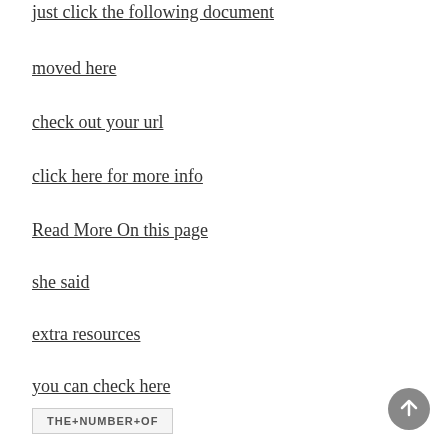just click the following document
moved here
check out your url
click here for more info
Read More On this page
she said
extra resources
you can check here
THE+NUMBER+OF